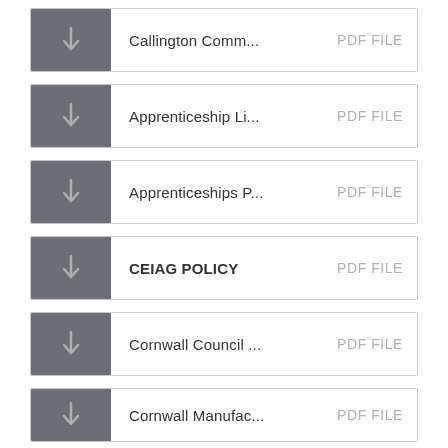Callington Comm... PDF FILE
Apprenticeship Li... PDF FILE
Apprenticeships P... PDF FILE
CEIAG POLICY PDF FILE
Cornwall Council ... PDF FILE
Cornwall Manufac... PDF FILE